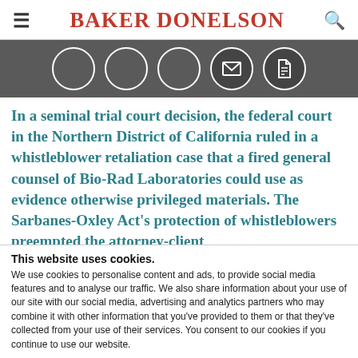BAKER DONELSON
[Figure (illustration): Dark grey icon bar with five circular icons: three empty circles, one filled circle with envelope icon, one filled circle with document icon]
In a seminal trial court decision, the federal court in the Northern District of California ruled in a whistleblower retaliation case that a fired general counsel of Bio-Rad Laboratories could use as evidence otherwise privileged materials. The Sarbanes-Oxley Act's protection of whistleblowers preempted the attorney-client
This website uses cookies.
We use cookies to personalise content and ads, to provide social media features and to analyse our traffic. We also share information about your use of our site with our social media, advertising and analytics partners who may combine it with other information that you've provided to them or that they've collected from your use of their services. You consent to our cookies if you continue to use our website.